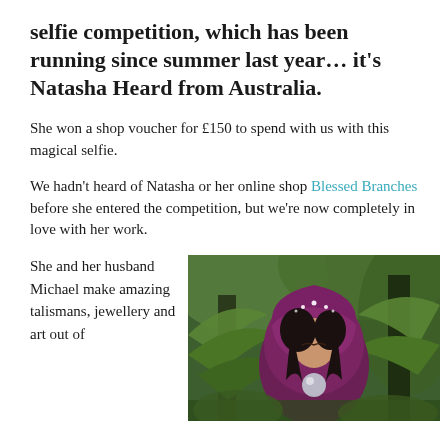selfie competition, which has been running since summer last year… it's Natasha Heard from Australia.
She won a shop voucher for £150 to spend with us with this magical selfie.
We hadn't heard of Natasha or her online shop Blessed Branches before she entered the competition, but we're now completely in love with her work.
She and her husband Michael make amazing talismans, jewellery and art out of
[Figure (photo): A woman wearing a dark purple/magenta hooded cloak, standing in a lush green forest setting, looking down while holding what appears to be a crystal ball. She has dark curly hair and there are sparkles on her hood.]